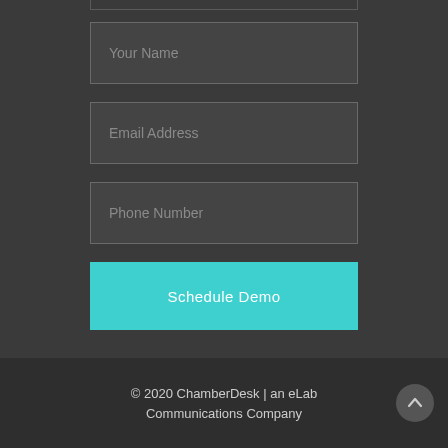[Figure (screenshot): Partial top input field border visible at the very top of the page]
Your Name
Email Address
Phone Number
Schedule Demo
© 2020 ChamberDesk | an eLab Communications Company